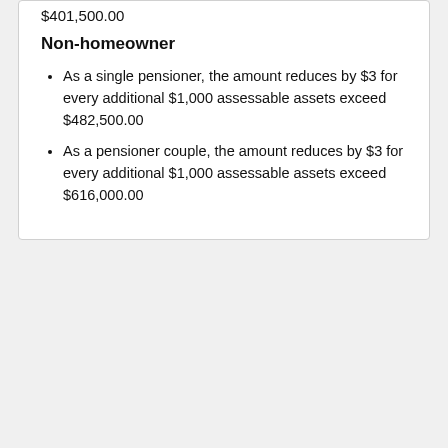$401,500.00
Non-homeowner
As a single pensioner, the amount reduces by $3 for every additional $1,000 assessable assets exceed $482,500.00
As a pensioner couple, the amount reduces by $3 for every additional $1,000 assessable assets exceed $616,000.00